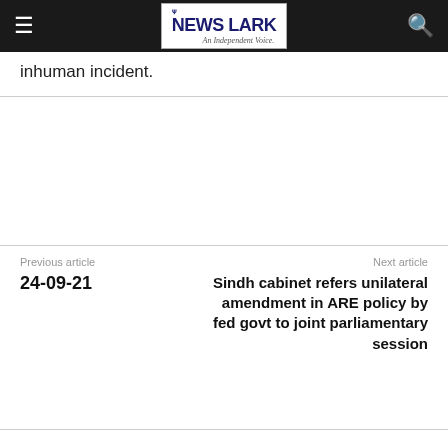The News Lark — An Independent Voice.
inhuman incident.
Previous article
24-09-21
Next article
Sindh cabinet refers unilateral amendment in ARE policy by fed govt to joint parliamentary session